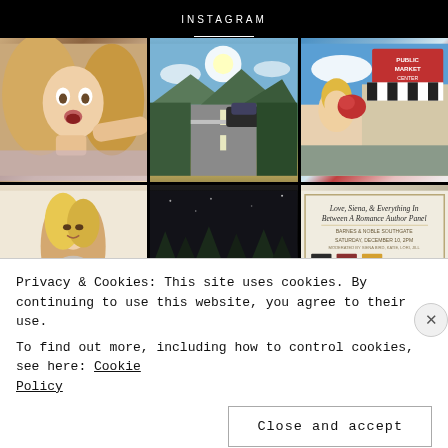INSTAGRAM
[Figure (photo): Selfie of a blonde woman with surprised expression]
[Figure (photo): Mountain road scene with blue sky, trees, and a car]
[Figure (photo): Blonde woman at Public Market with red flowers]
[Figure (photo): Blonde woman at a desk or counter indoors]
[Figure (photo): Dark nighttime outdoor scene with trees]
[Figure (photo): Event poster: Love, Siena, & Everything In Between A Romance Author Panel]
Privacy & Cookies: This site uses cookies. By continuing to use this website, you agree to their use.
To find out more, including how to control cookies, see here: Cookie Policy
Close and accept